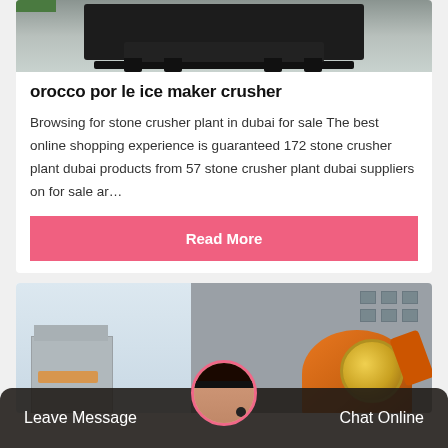[Figure (photo): Industrial machinery (dark crusher/machine) on a grey floor, partial top view]
orocco por le ice maker crusher
Browsing for stone crusher plant in dubai for sale The best online shopping experience is guaranteed 172 stone crusher plant dubai products from 57 stone crusher plant dubai suppliers on for sale ar…
Read More
[Figure (photo): Industrial factory building with an orange/gold ball mill crusher machine in foreground]
Leave Message
Chat Online